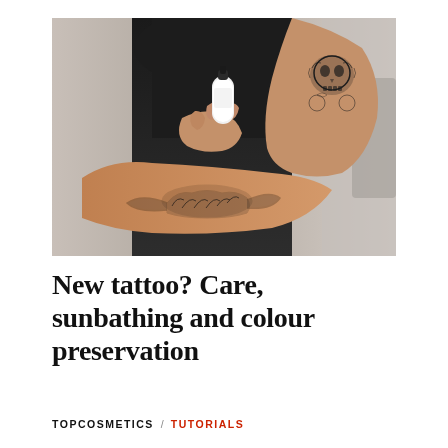[Figure (photo): A person in a black top applying lotion or spray from a white canister to a tattooed arm. The arm has detailed black ink tattoos including a skull and a bird/eagle design. The person has dark painted nails.]
New tattoo? Care, sunbathing and colour preservation
TOPCOSMETICS / TUTORIALS